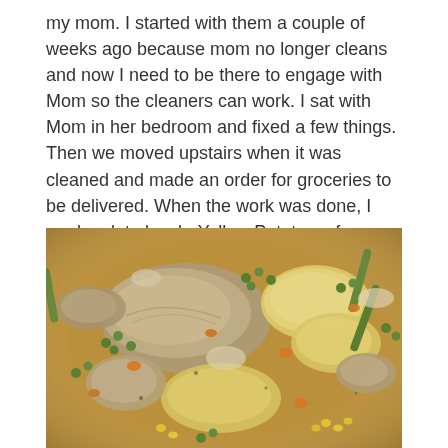my mom. I started with them a couple of weeks ago because mom no longer cleans and now I need to be there to engage with Mom so the cleaners can work. I sat with Mom in her bedroom and fixed a few things. Then we moved upstairs when it was cleaned and made an order for groceries to be delivered. When the work was done, I made a late lunch. Yellow Potatoes, frozen Mushrooms, frozen Mix Vegetables, Onions and Dill cooked together. I was going to add Garbanzo beans but I forgot. It was still good.
[Figure (photo): Close-up photo of a cooked vegetable dish featuring sliced yellow potatoes, mushrooms, green beans, peas, carrots, and corn kernels in a savory broth]